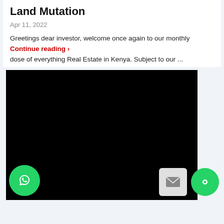Land Mutation
Apr 11, 2022
Greetings dear investor, welcome once again to our monthly Continue reading › dose of everything Real Estate in Kenya. Subject to our ...
[Figure (photo): A large black rectangle representing a video or image thumbnail that has not loaded, with a WhatsApp floating action button in the lower left, and an email icon button and a chat icon in the lower right corner.]